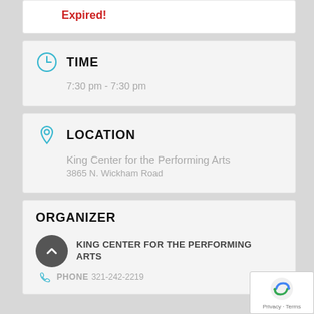Expired!
TIME
7:30 pm - 7:30 pm
LOCATION
King Center for the Performing Arts
3865 N. Wickham Road
ORGANIZER
KING CENTER FOR THE PERFORMING ARTS
PHONE 321-242-2219